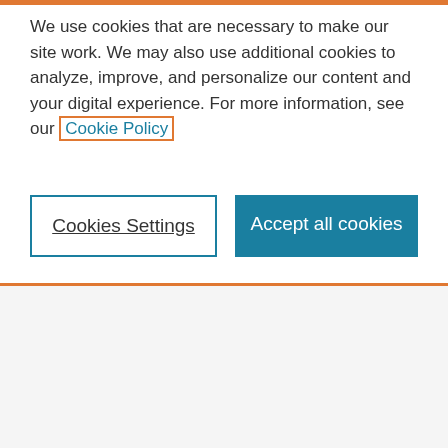We use cookies that are necessary to make our site work. We may also use additional cookies to analyze, improve, and personalize our content and your digital experience. For more information, see our Cookie Policy
Cookies Settings
Accept all cookies
healthcare services in countries experiencing an outbreak. Usually ZIKV infection is mild, but in some cases it has been reported to progress into neurological diseases such as
Save time finding and organizing research with Mendeley
Sign up for free